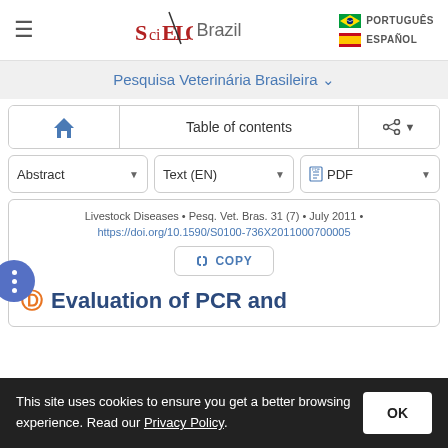SciELO Brazil | PORTUGUÊS | ESPAÑOL
Pesquisa Veterinária Brasileira
Table of contents
Abstract ▼ | Text (EN) ▼ | PDF ▼
Livestock Diseases • Pesq. Vet. Bras. 31 (7) • July 2011 • https://doi.org/10.1590/S0100-736X2011000700005
COPY
Evaluation of PCR and
This site uses cookies to ensure you get a better browsing experience. Read our Privacy Policy. OK